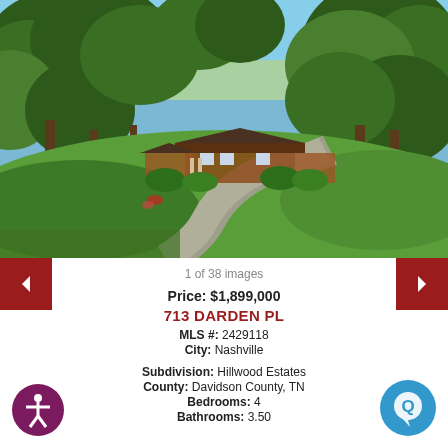[Figure (photo): Exterior photo of a brick ranch house at 713 Darden Pl, Nashville. A curved driveway lined by mature trees leads to the home surrounded by lush green lawn.]
1 of 38 images
Price: $1,899,000
713 DARDEN PL
MLS #: 2429118
City: Nashville
Subdivision: Hillwood Estates
County: Davidson County, TN
Bedrooms: 4
Bathrooms: 3.50